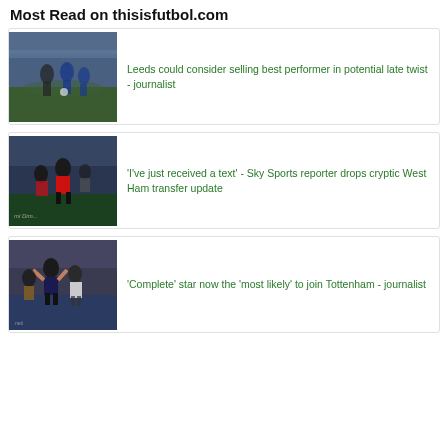Most Read on thisisfutbol.com
[Figure (photo): Football action shot with players competing for the ball]
Leeds could consider selling best performer in potential late twist - journalist
[Figure (photo): Football player in red kit with crowd in background]
'I've just received a text' - Sky Sports reporter drops cryptic West Ham transfer update
[Figure (photo): Football players and staff applauding crowd]
'Complete' star now the 'most likely' to join Tottenham - journalist